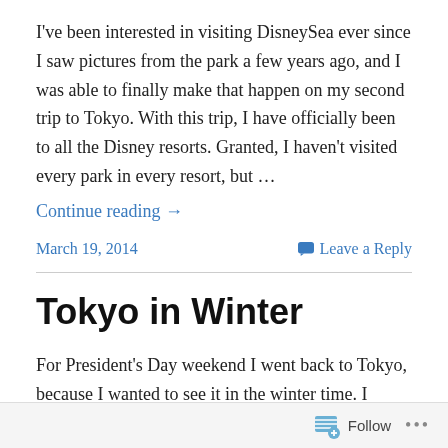I've been interested in visiting DisneySea ever since I saw pictures from the park a few years ago, and I was able to finally make that happen on my second trip to Tokyo. With this trip, I have officially been to all the Disney resorts. Granted, I haven't visited every park in every resort, but …
Continue reading →
March 19, 2014
Leave a Reply
Tokyo in Winter
For President's Day weekend I went back to Tokyo, because I wanted to see it in the winter time. I figured the weather would be good enough, plus there weren't many things I wanted to do in the winter time. Or at least I
Follow